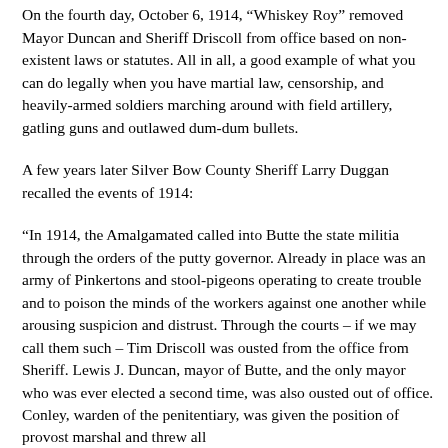courtroom guarded by the state militia listening to testimony.
On the fourth day, October 6, 1914, “Whiskey Roy” removed Mayor Duncan and Sheriff Driscoll from office based on non-existent laws or statutes. All in all, a good example of what you can do legally when you have martial law, censorship, and heavily-armed soldiers marching around with field artillery, gatling guns and outlawed dum-dum bullets.
A few years later Silver Bow County Sheriff Larry Duggan recalled the events of 1914:
“In 1914, the Amalgamated called into Butte the state militia through the orders of the putty governor. Already in place was an army of Pinkertons and stool-pigeons operating to create trouble and to poison the minds of the workers against one another while arousing suspicion and distrust. Through the courts – if we may call them such – Tim Driscoll was ousted from the office from Sheriff. Lewis J. Duncan, mayor of Butte, and the only mayor who was ever elected a second time, was also ousted out of office. Conley, warden of the penitentiary, was given the position of provost marshal and threw all